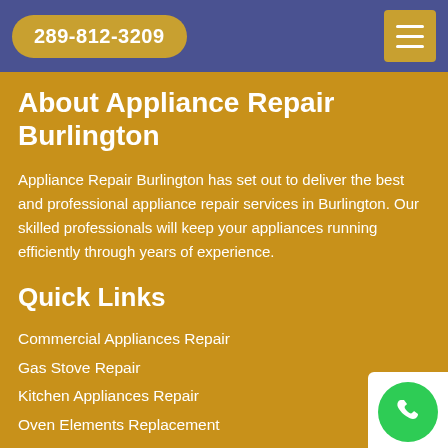289-812-3209
About Appliance Repair Burlington
Appliance Repair Burlington has set out to deliver the best and professional appliance repair services in Burlington. Our skilled professionals will keep your appliances running efficiently through years of experience.
Quick Links
Commercial Appliances Repair
Gas Stove Repair
Kitchen Appliances Repair
Oven Elements Replacement
Washing Machine Re...